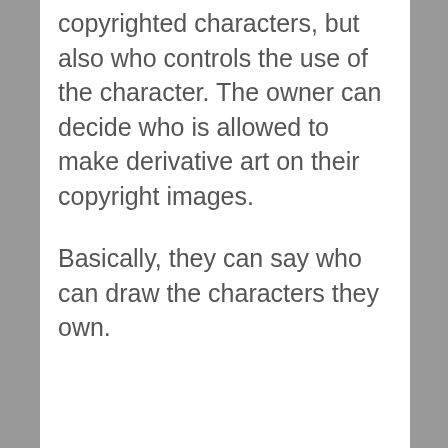copyrighted characters, but also who controls the use of the character. The owner can decide who is allowed to make derivative art on their copyright images.

Basically, they can say who can draw the characters they own.
REPLY
John Barrows on July 15, 2014 at 4:51 am
Thank you Arnie, for this article. Recently I've been